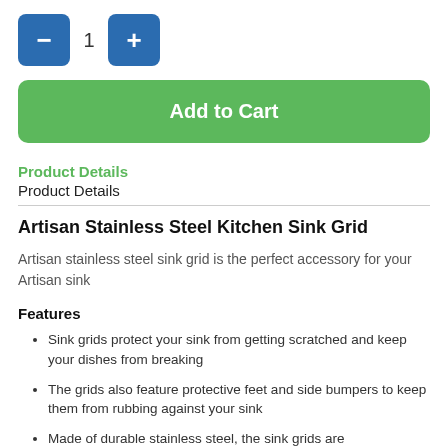[Figure (other): Quantity selector with minus button, number 1, and plus button]
[Figure (other): Green Add to Cart button]
Product Details
Product Details
Artisan Stainless Steel Kitchen Sink Grid
Artisan stainless steel sink grid is the perfect accessory for your Artisan sink
Features
Sink grids protect your sink from getting scratched and keep your dishes from breaking
The grids also feature protective feet and side bumpers to keep them from rubbing against your sink
Made of durable stainless steel, the sink grids are